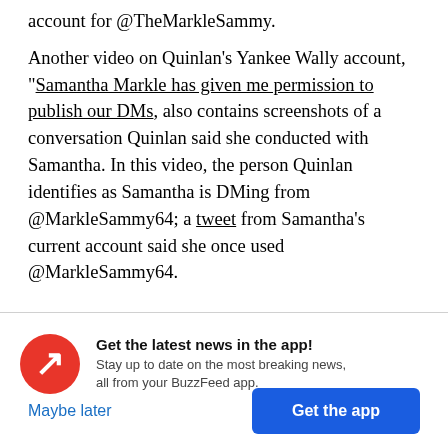account for @TheMarkleSammy.
Another video on Quinlan’s Yankee Wally account, “Samantha Markle has given me permission to publish our DMs, also contains screenshots of a conversation Quinlan said she conducted with Samantha. In this video, the person Quinlan identifies as Samantha is DMing from @MarkleSammy64; a tweet from Samantha’s current account said she once used @MarkleSammy64.
[Figure (logo): BuzzFeed red circular logo with white arrow/lightning bolt icon]
Get the latest news in the app! Stay up to date on the most breaking news, all from your BuzzFeed app.
Maybe later
Get the app